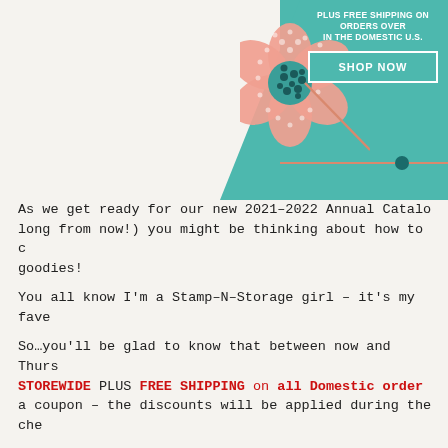[Figure (illustration): Promotional banner with teal background triangle, decorative flower graphic (salmon/pink petals with teal center polka-dot pattern), text 'PLUS FREE SHIPPING ON ORDERS OVER IN THE DOMESTIC U.S.', a teal 'SHOP NOW' button, and an orange/salmon timeline line with a teal dot.]
As we get ready for our new 2021-2022 Annual Catalog (not long from now!) you might be thinking about how to get goodies!
You all know I'm a Stamp-N-Storage girl – it's my fave
So…you'll be glad to know that between now and Thursday, STOREWIDE PLUS FREE SHIPPING on all Domestic order a coupon – the discounts will be applied during the checkout.
Here's the deets:
15% off STOREWIDE
Sale ends at midnight, May 6, 2021.
FREE SHIPPING on all domestic orders over $100